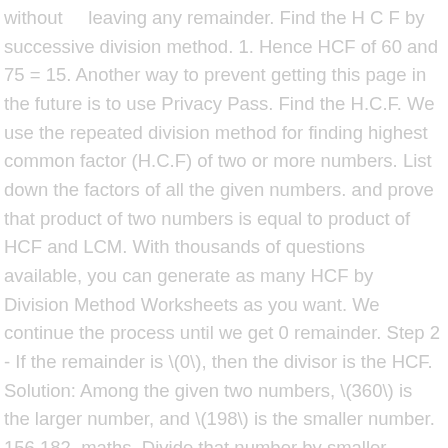without    leaving any remainder. Find the H C F by successive division method. 1. Hence HCF of 60 and 75 = 15. Another way to prevent getting this page in the future is to use Privacy Pass. Find the H.C.F. We use the repeated division method for finding highest common factor (H.C.F) of two or more numbers. List down the factors of all the given numbers. and prove that product of two numbers is equal to product of HCF and LCM. With thousands of questions available, you can generate as many HCF by Division Method Worksheets as you want. We continue the process until we get 0 remainder. Step 2 - If the remainder is \(0\), then the divisor is the HCF. Solution: Among the given two numbers, \(360\) is the larger number, and \(198\) is the smaller number. 156,182. maths. Divide that number by smaller number. Step 3: Finally, then write the numbers as a product of the prime numbers. of 12,15 and 45. In this method, we list out all the prime factors of the numbers. Divide smaller number in step 1 with remainder obtained in step 1. We divide the bigger number by smaller one. We have, Therefore, the  required highest common factor of